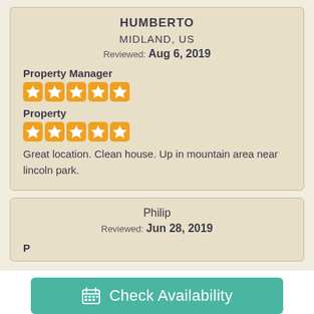HUMBERTO
MIDLAND, US
Reviewed: Aug 6, 2019
Property Manager
[Figure (other): 5 orange star rating icons for Property Manager]
Property
[Figure (other): 5 orange star rating icons for Property]
Great location. Clean house. Up in mountain area near lincoln park.
Philip
Reviewed: Jun 28, 2019
P
Check Availability